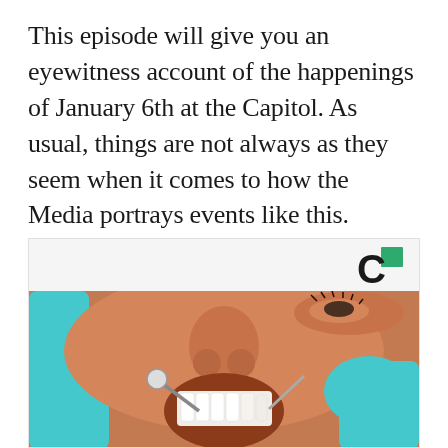This episode will give you an eyewitness account of the happenings of January 6th at the Capitol. As usual, things are not always as they seem when it comes to how the Media portrays events like this.
[Figure (photo): A close-up photo of a dental patient receiving dental treatment. The patient's face is visible with eyes closed, mouth open, and a dental practitioner wearing teal/cyan gloves is using dental instruments. A logo (letter C with green square) appears in the upper right corner of the image frame.]